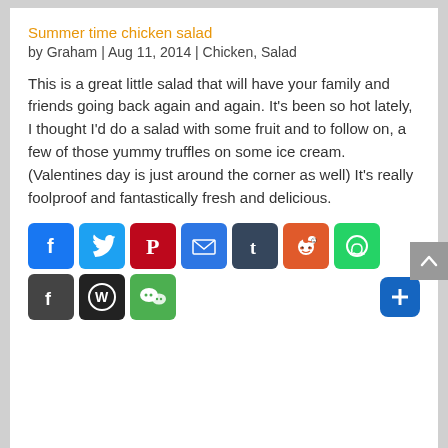Summer time chicken salad
by Graham | Aug 11, 2014 | Chicken, Salad
This is a great little salad that will have your family and friends going back again and again. It's been so hot lately, I thought I'd do a salad with some fruit and to follow on, a few of those yummy truffles on some ice cream. (Valentines day is just around the corner as well) It's really foolproof and fantastically fresh and delicious.
[Figure (infographic): Row of social share buttons: Facebook (blue), Twitter (blue), Pinterest (red), Email (blue), Tumblr (dark blue), Reddit (orange-red), WhatsApp (green), then second row: Flipboard (dark gray), WordPress (dark gray/black), WeChat (green), and a blue + more button]